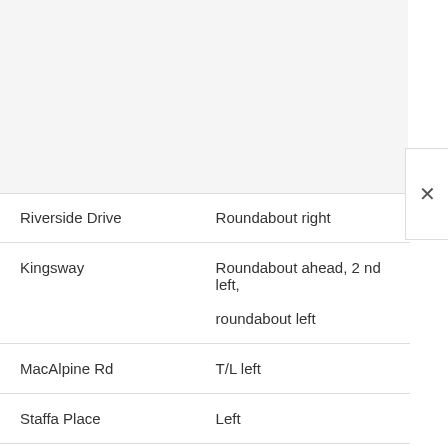| Name/Number of Road | Direction |
| --- | --- |
| Riverside Drive | Roundabout right |
| Kingsway | Roundabout ahead, 2 nd left, roundabout left |
| MacAlpine Rd | T/L left |
| Staffa Place | Left |
| Telford Rd | Right |
| DTC |  |
|  |  |
| Route Number | 7 |
| Name/Number of Road | Direction |